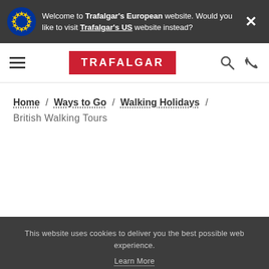Welcome to Trafalgar's European website. Would you like to visit Trafalgar's US website instead?
TRAFALGAR
Home / Ways to Go / Walking Holidays / British Walking Tours
This website uses cookies to deliver you the best possible web experience. Learn More
GOT IT
Book a Video Appointment